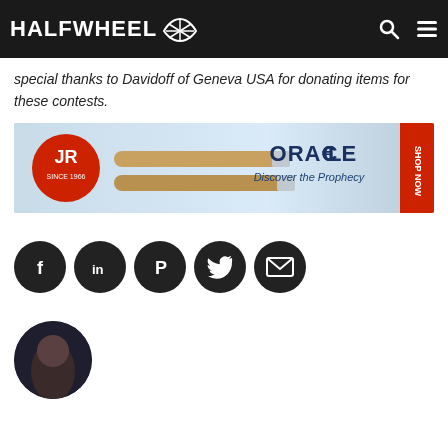HALFWHEEL
special thanks to Davidoff of Geneva USA for donating items for these contests.
[Figure (photo): Advertisement banner for JR Cigars Oracle cigar - shows two cigars with text 'ORACLE Discover the Prophecy' and 'SHOP NOW' on right side]
[Figure (infographic): Social media sharing icons: Facebook, LinkedIn, Pinterest, Twitter, Email - all white icons in dark circular buttons]
[Figure (photo): Partial circular profile photo of a person at bottom of page]